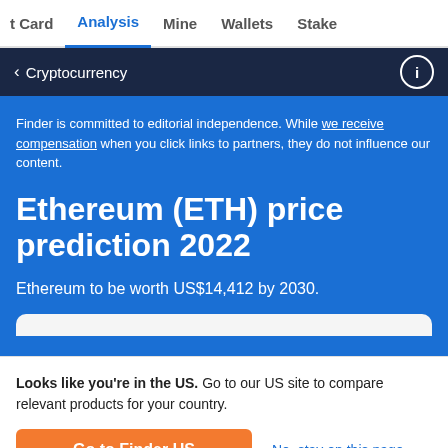t Card  Analysis  Mine  Wallets  Stake
< Cryptocurrency
Finder is committed to editorial independence. While we receive compensation when you click links to partners, they do not influence our content.
Ethereum (ETH) price prediction 2022
Ethereum to be worth US$14,412 by 2030.
Looks like you're in the US. Go to our US site to compare relevant products for your country.
Go to Finder US
No, stay on this page